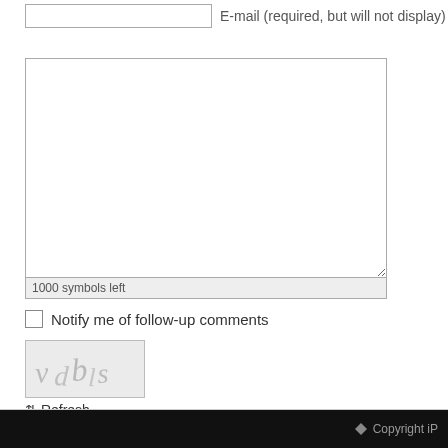E-mail (required, but will not display)
1000 symbols left
Notify me of follow-up comments
[Figure (other): CAPTCHA image with stylized handwritten text showing a code]
⇕ Refresh
Send